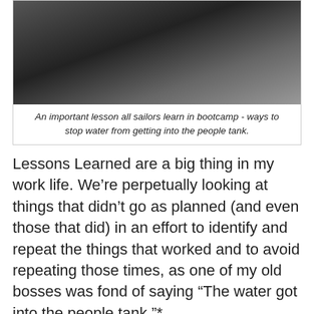[Figure (photo): A person being doused with water, wearing dark clothing, photographed indoors.]
An important lesson all sailors learn in bootcamp - ways to stop water from getting into the people tank.
Lessons Learned are a big thing in my work life. We’re perpetually looking at things that didn’t go as planned (and even those that did) in an effort to identify and repeat the things that worked and to avoid repeating those times, as one of my old bosses was fond of saying “The water got into the people tank.”*
So, although I was pleased with the layout’s scenery and performance (once the initial teething pains were worked through) I find myself asking if the layout was “successful?”
The stated purpose of the railroad was to “model the equipment, structures, operations and setting of the